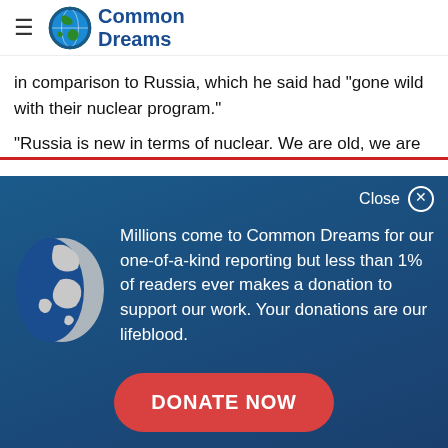Common Dreams
in comparison to Russia, which he said had "gone wild with their nuclear program."
"Russia is new in terms of nuclear. We are old, we are
[Figure (infographic): Common Dreams donation overlay with globe icon, text: Millions come to Common Dreams for our one-of-a-kind reporting but less than 1% of readers ever makes a donation to support our work. Your donations are our lifeblood. DONATE NOW button. Close button top right.]